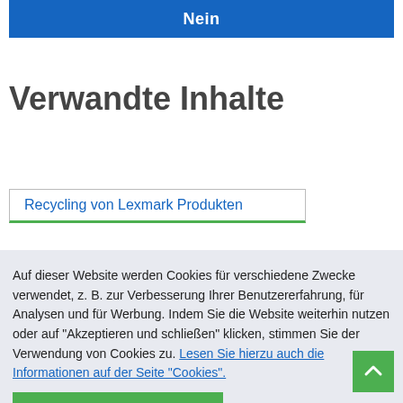[Figure (screenshot): Blue button with white text 'Nein' at the top of the page]
Verwandte Inhalte
Recycling von Lexmark Produkten
Auf dieser Website werden Cookies für verschiedene Zwecke verwendet, z. B. zur Verbesserung Ihrer Benutzererfahrung, für Analysen und für Werbung. Indem Sie die Website weiterhin nutzen oder auf "Akzeptieren und schließen" klicken, stimmen Sie der Verwendung von Cookies zu. Lesen Sie hierzu auch die Informationen auf der Seite "Cookies".
Akzeptieren und schließen